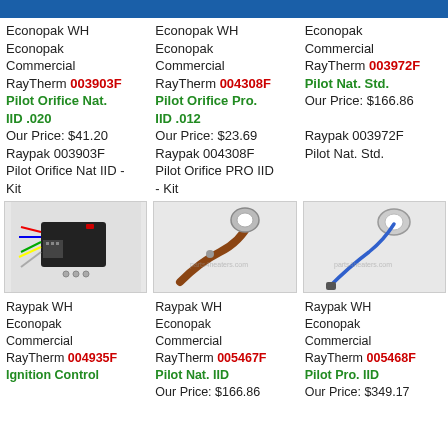Raypak WH Econopak WH Econopak Commercial RayTherm 003903F Pilot Orifice Nat. IID .020
Our Price: $41.20
Raypak 003903F Pilot Orifice Nat IID - Kit
Raypak WH Econopak WH Econopak Commercial RayTherm 004308F Pilot Orifice Pro. IID .012
Our Price: $23.69
Raypak 004308F Pilot Orifice PRO IID - Kit
Raypak WH Econopak Commercial RayTherm 003972F Pilot Nat. Std.
Our Price: $166.86
Raypak 003972F Pilot Nat. Std.
[Figure (photo): Electronic ignition control module with colored wires]
[Figure (photo): Pilot assembly kit with brown tube]
[Figure (photo): Pilot assembly kit with blue wire]
Raypak WH Econopak Commercial RayTherm 004935F Ignition Control
Raypak WH Econopak Commercial RayTherm 005467F Pilot Nat. IID
Our Price: $166.86
Raypak WH Econopak Commercial RayTherm 005468F Pilot Pro. IID
Our Price: $349.17